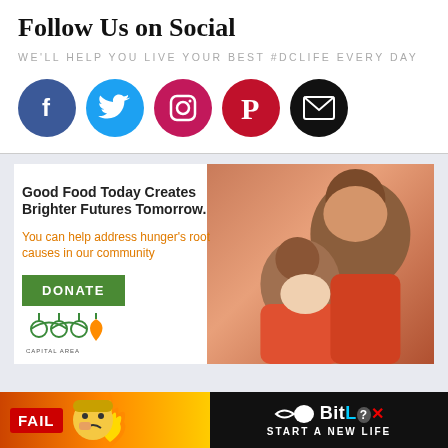Follow Us on Social
WE'LL HELP YOU LIVE YOUR BEST #DCLIFE EVERY DAY
[Figure (infographic): Five social media icons: Facebook (blue circle with f), Twitter (cyan circle with bird), Instagram (pink circle with camera), Pinterest (dark red circle with P), Email (black circle with envelope)]
[Figure (infographic): Advertisement: Good Food Today Creates Brighter Futures Tomorrow. You can help address hunger's root causes in our community. DONATE button. Capital Area Food Bank logo. Photo of woman and child.]
[Figure (infographic): BitLife mobile game banner ad: FAIL text, flame graphic, BitLife logo, START A NEW LIFE text]